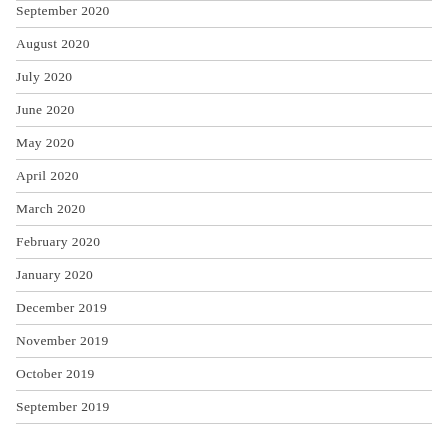September 2020
August 2020
July 2020
June 2020
May 2020
April 2020
March 2020
February 2020
January 2020
December 2019
November 2019
October 2019
September 2019